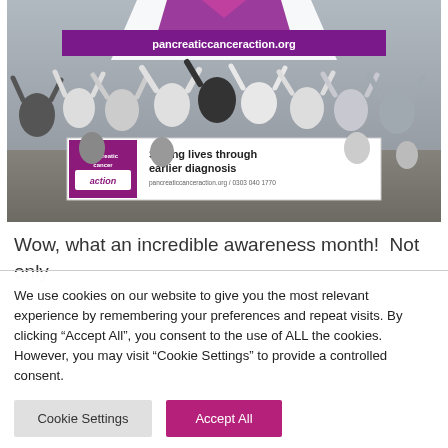[Figure (photo): Group photo of charity event participants wearing white 'Pancreatic Cancer Action' t-shirts, waving hands in the air, standing in front of a purple branded tent and banner reading 'pancreaticcanceraction.org' and 'Saving lives through earlier diagnosis']
Wow, what an incredible awareness month!  Not only
We use cookies on our website to give you the most relevant experience by remembering your preferences and repeat visits. By clicking "Accept All", you consent to the use of ALL the cookies. However, you may visit "Cookie Settings" to provide a controlled consent.